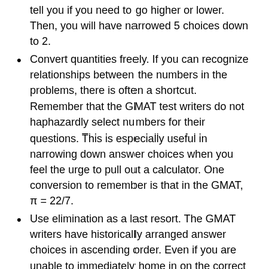tell you if you need to go higher or lower. Then, you will have narrowed 5 choices down to 2.
Convert quantities freely. If you can recognize relationships between the numbers in the problems, there is often a shortcut. Remember that the GMAT test writers do not haphazardly select numbers for their questions. This is especially useful in narrowing down answer choices when you feel the urge to pull out a calculator. One conversion to remember is that in the GMAT, π = 22/7.
Use elimination as a last resort. The GMAT writers have historically arranged answer choices in ascending order. Even if you are unable to immediately home in on the correct answer, chances are that guesstimating, working backwards, or some other technique will help you eliminate many wrong choices.
Practice, practice, practice. When you spend time practicing, you internalize these tips and strategies. You will also become comfortable with the type of questions